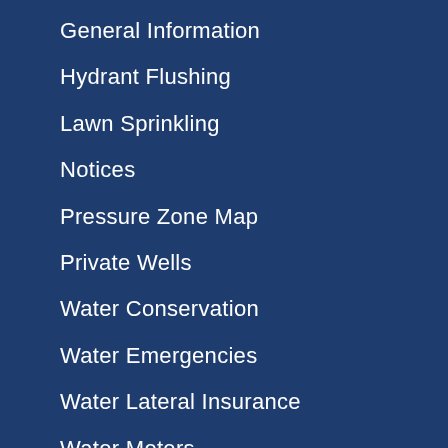General Information
Hydrant Flushing
Lawn Sprinkling
Notices
Pressure Zone Map
Private Wells
Water Conservation
Water Emergencies
Water Lateral Insurance
Water Meters